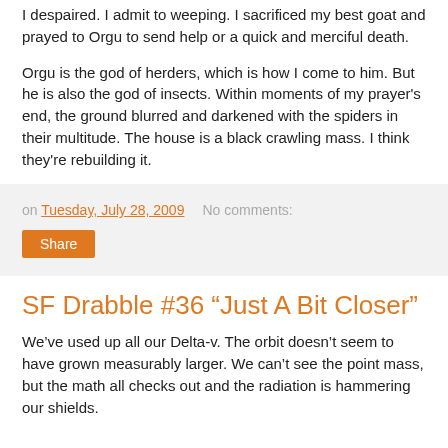I despaired. I admit to weeping. I sacrificed my best goat and prayed to Orgu to send help or a quick and merciful death.
Orgu is the god of herders, which is how I come to him. But he is also the god of insects. Within moments of my prayer’s end, the ground blurred and darkened with the spiders in their multitude. The house is a black crawling mass. I think they’re rebuilding it.
on Tuesday, July 28, 2009   No comments:
SF Drabble #36 “Just A Bit Closer”
We’ve used up all our Delta-v. The orbit doesn’t seem to have grown measurably larger. We can’t see the point mass, but the math all checks out and the radiation is hammering our shields.